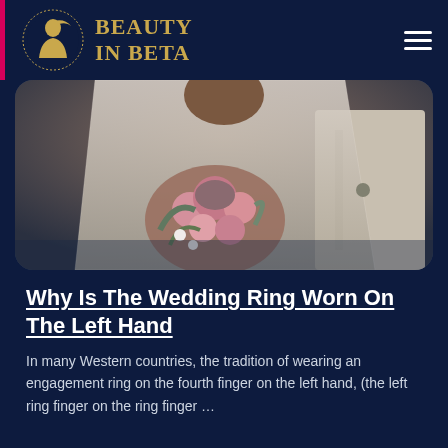BEAUTY IN BETA
[Figure (photo): A bride in a white lace wedding dress holding a bouquet of pink and blush flowers with greenery, photographed from the chest down.]
Why Is The Wedding Ring Worn On The Left Hand
In many Western countries, the tradition of wearing an engagement ring on the fourth finger on the left hand, (the left ring finger on the ring finger ...